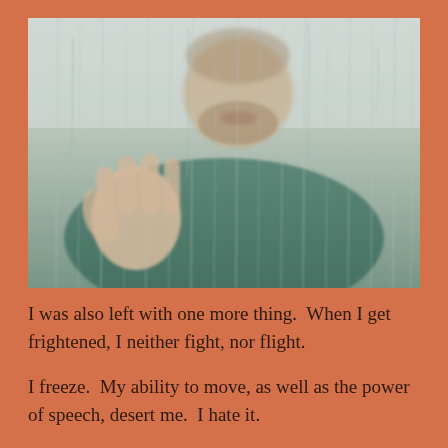[Figure (photo): A person pressing their hand and face against a wet, rain-streaked glass surface, viewed from outside. The person wears a teal/green sweater. Their face is blurred through the glass. The background is an orange/terracotta color.]
I was also left with one more thing.  When I get frightened, I neither fight, nor flight.
I freeze.  My ability to move, as well as the power of speech, desert me.  I hate it.